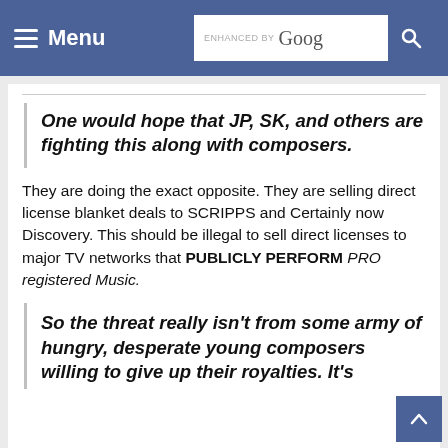Menu | ENHANCED BY Google [search button]
One would hope that JP, SK, and others are fighting this along with composers.
They are doing the exact opposite. They are selling direct license blanket deals to SCRIPPS and Certainly now Discovery. This should be illegal to sell direct licenses to major TV networks that PUBLICLY PERFORM PRO registered Music.
So the threat really isn't from some army of hungry, desperate young composers willing to give up their royalties. It's